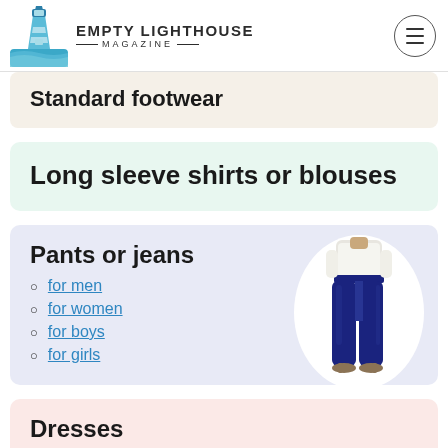Empty Lighthouse Magazine
Standard footwear
Long sleeve shirts or blouses
Pants or jeans
for men
for women
for boys
for girls
[Figure (photo): Woman wearing dark blue skinny jeans and sandals, shown from waist down in a white oval/circle frame]
Dresses